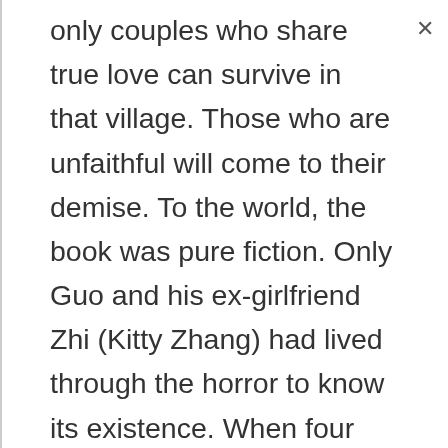only couples who share true love can survive in that village. Those who are unfaithful will come to their demise. To the world, the book was pure fiction. Only Guo and his ex-girlfriend Zhi (Kitty Zhang) had lived through the horror to know its existence. When four college students decided to explore the village themselves, the trip led them to an ancient well in Yanzi’s mansion, where the curse was unleashed once again.